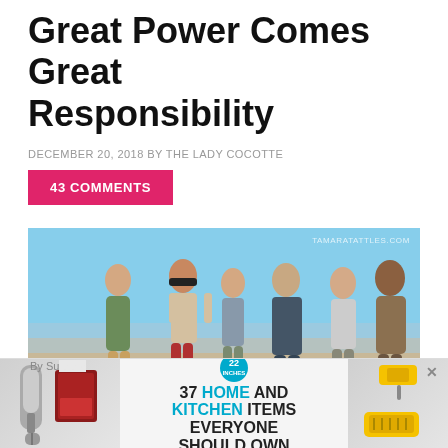Great Power Comes Great Responsibility
DECEMBER 20, 2018 BY THE LADY COCOTTE
43 COMMENTS
[Figure (photo): Group of six Survivor contestants walking on a sandy beach with blue sky background. Watermark reads TAMARATATTLES.COM. A CLOSE button appears in the lower right corner of the image.]
[Figure (infographic): Advertisement banner: 37 HOME AND KITCHEN ITEMS EVERYONE SHOULD OWN, with a 22 Inches badge, images of wine opener tools on the left and yellow kitchen tools on the right. An X close button is visible in the upper right.]
By Su...